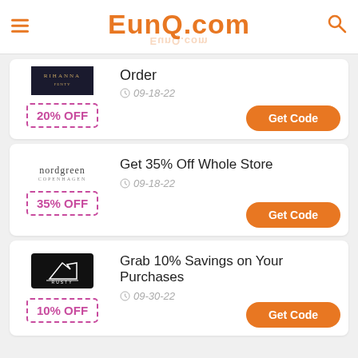EunQ.com
Order
09-18-22
20% OFF
Get Code
Get 35% Off Whole Store
09-18-22
35% OFF
Get Code
Grab 10% Savings on Your Purchases
09-30-22
10% OFF
Get Code